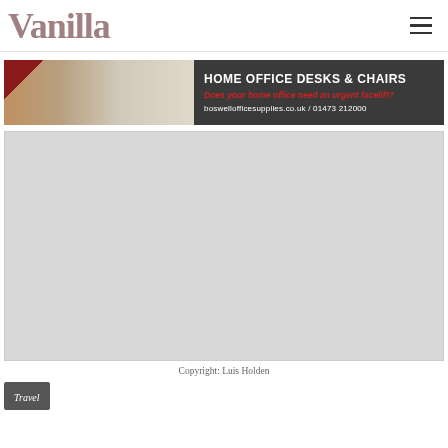Vanilla
[Figure (infographic): Home Office Desks & Chairs advertisement banner showing an office room photo on the left and dark background text area on the right with the text: HOME OFFICE DESKS & CHAIRS, Does your home office need an urgent facelift?, boswellofficesupplies.co.uk / 01473 212000]
[Figure (photo): Large light grey placeholder image area]
Copyright: Luis Holden
Travel